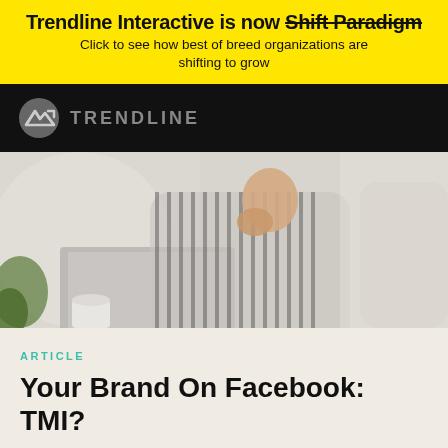Trendline Interactive is now Shift Paradigm
Click to see how best of breed organizations are shifting to grow
[Figure (logo): Trendline logo on black navigation bar — grey circular icon with stylized arrow/chart mark, followed by 'TRENDLINE' text in grey uppercase letters]
[Figure (photo): Woman in black and white striped shirt sitting at a laptop, resting her chin on her hand in a thoughtful pose, with a plant and coffee cup in the background]
ARTICLE
Your Brand On Facebook: TMI?